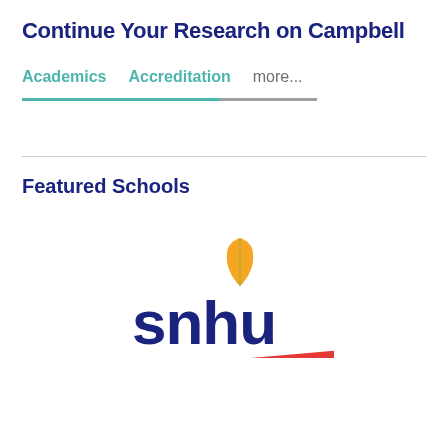Continue Your Research on Campbell
Academics   Accreditation   more...
Featured Schools
[Figure (logo): SNHU (Southern New Hampshire University) logo with a dark blue stylized text 'snhu' and a golden flame/leaf above the letter 'h', with a red triangular swoosh beneath]